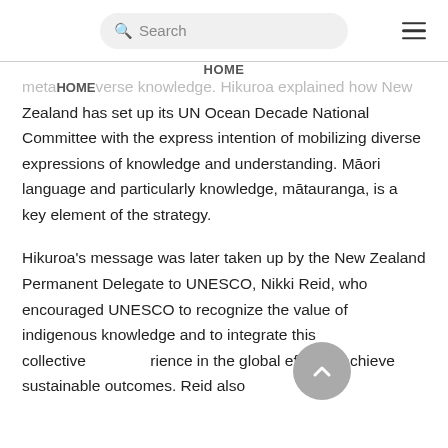Search | HOME
metadiverse knowledge. Hikuroa explained how New Zealand has set up its UN Ocean Decade National Committee with the express intention of mobilizing diverse expressions of knowledge and understanding. Māori language and particularly knowledge, mātauranga, is a key element of the strategy.
Hikuroa's message was later taken up by the New Zealand Permanent Delegate to UNESCO, Nikki Reid, who encouraged UNESCO to recognize the value of indigenous knowledge and to integrate this collective experience in the global effort to achieve sustainable outcomes. Reid also